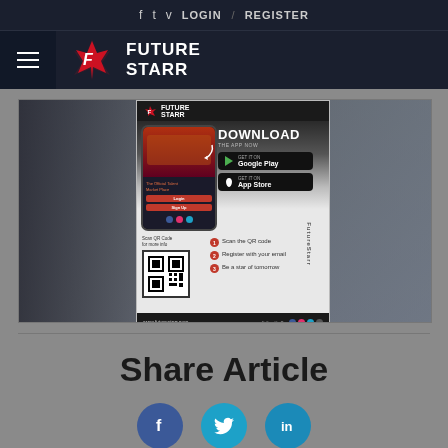f  t  v  LOGIN  /  REGISTER
[Figure (logo): FutureStarr logo with hamburger menu icon, star graphic and text FUTURE STARR]
[Figure (infographic): FutureStarr app download advertisement overlaid on building photo background. Shows phone mockup, DOWNLOAD THE APP NOW text, Google Play and App Store buttons, QR code, steps: 1. Scan the QR code, 2. Register with your email, 3. Be a star of tomorrow, www.futurestarr.com, Follow Us On social icons]
Share Article
[Figure (infographic): Three social share icon circles: Facebook (f), Twitter (bird), LinkedIn (in)]